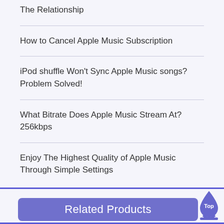The Relationship
How to Cancel Apple Music Subscription
iPod shuffle Won't Sync Apple Music songs? Problem Solved!
What Bitrate Does Apple Music Stream At? 256kbps
Enjoy The Highest Quality of Apple Music Through Simple Settings
Related Products